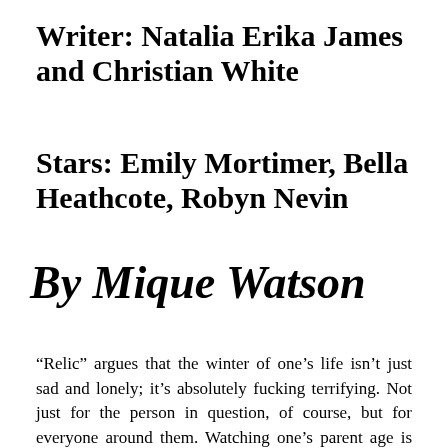Writer: Natalia Erika James and Christian White
Stars: Emily Mortimer, Bella Heathcote, Robyn Nevin
By Mique Watson
“Relic” argues that the winter of one’s life isn’t just sad and lonely; it’s absolutely fucking terrifying. Not just for the person in question, of course, but for everyone around them. Watching one’s parent age is both an honor, and a great source of stress; a reminder of how lucky you are to continue seeing them, and just how